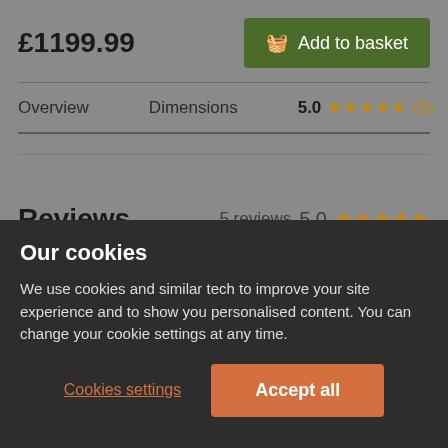£1199.99
Add to basket
Overview
Dimensions
5.0 ★★★★★ (5)
Reviews
5 reviews  5.0 ★★★★★
Write a review >
Our cookies
We use cookies and similar tech to improve your site experience and to show you personalised content. You can change your cookie settings at any time.
Cookies settings
Accept all